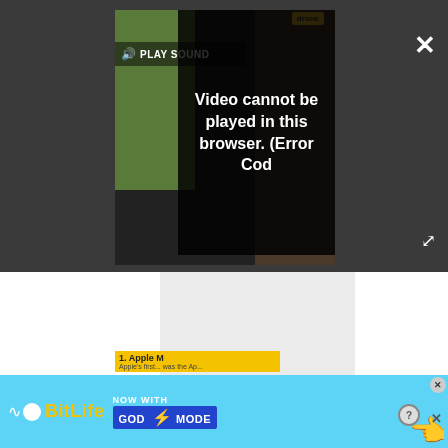[Figure (screenshot): Video player overlay on dark background showing 'Video cannot be played in this browser. (Error Cod' error message with PLAY SOUND button, close button (X), and expand button. Below is a large gray content area. At the bottom is an advertisement banner for BitLife 'Now With GOD MODE'.]